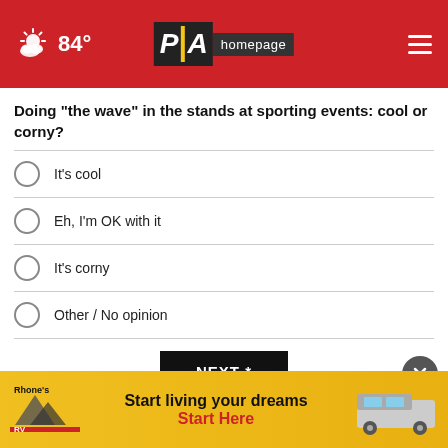84° PAhomepage
Doing "the wave" in the stands at sporting events: cool or corny?
It's cool
Eh, I'm OK with it
It's corny
Other / No opinion
NEXT *
* By clicking "NEXT" you agree to the following: We use cookies to track your survey answers. If you would like to continue with this survey, please read and agree to the CivicScience Privacy Policy and Terms of Service
[Figure (other): Rhone's RV advertisement banner: Start living your dreams - Start Here]